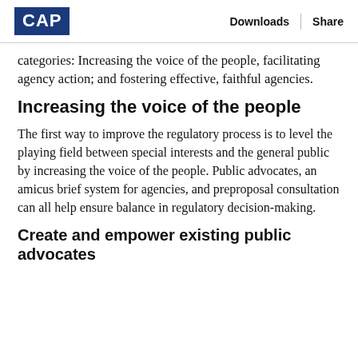CAP | Downloads | Share
categories: Increasing the voice of the people, facilitating agency action; and fostering effective, faithful agencies.
Increasing the voice of the people
The first way to improve the regulatory process is to level the playing field between special interests and the general public by increasing the voice of the people. Public advocates, an amicus brief system for agencies, and preproposal consultation can all help ensure balance in regulatory decision-making.
Create and empower existing public advocates